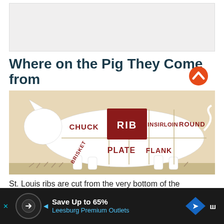[Figure (other): Top banner area (advertisement placeholder, light gray box)]
Where on the Pig They Come from
[Figure (infographic): Beef/pig cut diagram showing a white silhouette of a cow/pig on a tan background with labeled sections: CHUCK, RIB (highlighted in dark red), LOIN, SIRLOIN, ROUND, BRISKET, PLATE, FLANK. A red circular up-arrow scroll button appears at bottom right.]
St. Louis ribs are cut from the very bottom of the rib
[Figure (other): Advertisement bar: 'Save Up to 65%' Leesburg Premium Outlets, with logo icons and navigation arrow]